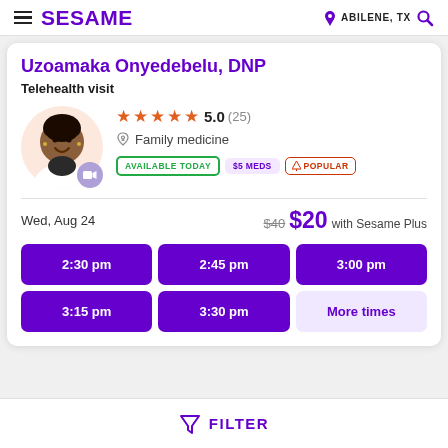SESAME  ABILENE, TX
Uzoamaka Onyedebelu, DNP
Telehealth visit
[Figure (photo): Headshot of Uzoamaka Onyedebelu, a woman with dark hair, smiling, wearing a white coat]
★★★★★ 5.0 (25) Family medicine AVAILABLE TODAY $5 MEDS POPULAR
Wed, Aug 24  $40  $20 with Sesame Plus
2:30 pm
2:45 pm
3:00 pm
3:15 pm
3:30 pm
More times
FILTER